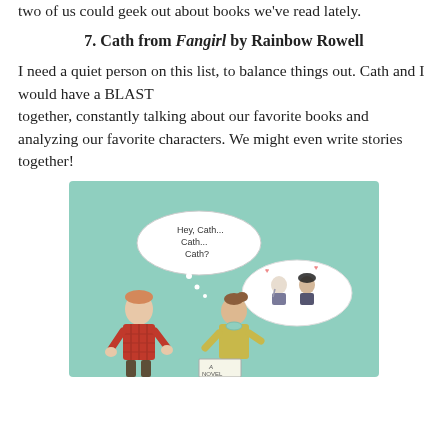two of us could geek out about books we've read lately.
7. Cath from Fangirl by Rainbow Rowell
I need a quiet person on this list, to balance things out. Cath and I would have a BLAST together, constantly talking about our favorite books and analyzing our favorite characters. We might even write stories together!
[Figure (illustration): Illustration on a mint/teal background showing two female characters. One stands with hands on hips wearing a red plaid shirt, the other is seated/leaning in a yellow shirt with a thought bubble showing two fantasy characters (a pale man and a dark-haired person). A speech bubble above reads 'Hey, Cath... Cath... Cath?' A small sign at the bottom reads 'A Novel'.]